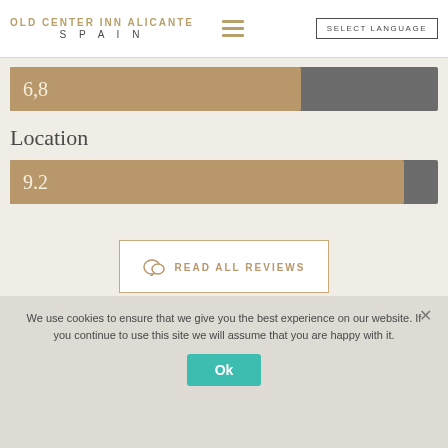OLD CENTER INN ALICANTE SPAIN
[Figure (bar-chart): Score bar 6.8]
Location
[Figure (bar-chart): Location score bar 9.2]
READ ALL REVIEWS
We use cookies to ensure that we give you the best experience on our website. If you continue to use this site we will assume that you are happy with it.